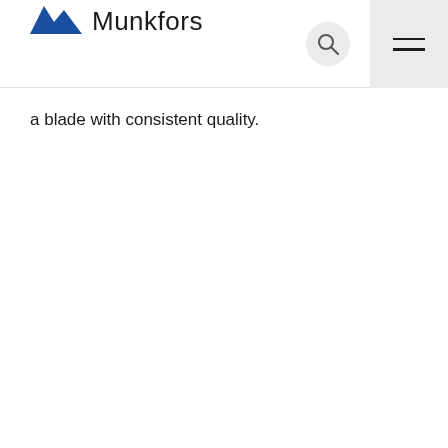Munkfors
a blade with consistent quality.